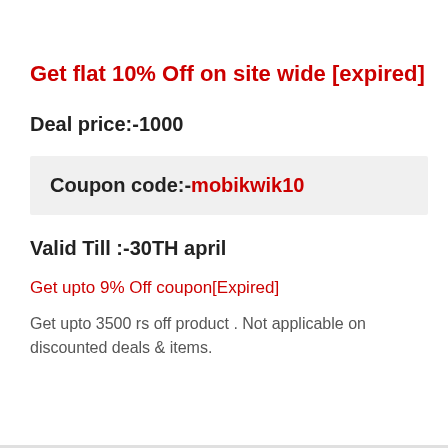Get flat 10% Off on site wide [expired]
Deal price:-1000
Coupon code:-mobikwik10
Valid Till :-30TH april
Get upto 9% Off coupon[Expired]
Get upto 3500 rs off product . Not applicable on discounted deals & items.